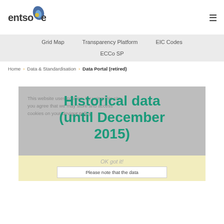[Figure (logo): ENTSO-E logo with stylized text 'entso-e' and blue/yellow droplet shape]
Grid Map | Transparency Platform | EIC Codes | ECCo SP
Home > Data & Standardisation > Data Portal (retired)
Historical data (until December 2015)
This website uses cookies. By using this site, you agree that we may store and access cookies on your device. our policy
OK got it!
Please note that the data